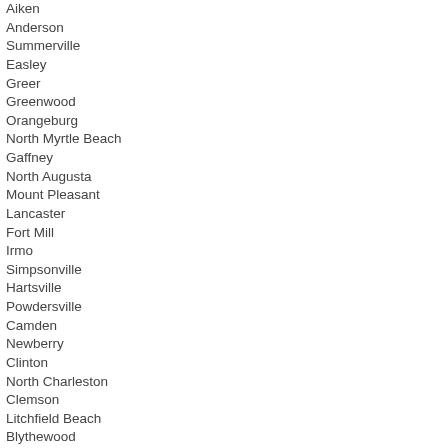Aiken
Anderson
Summerville
Easley
Greer
Greenwood
Orangeburg
North Myrtle Beach
Gaffney
North Augusta
Mount Pleasant
Lancaster
Fort Mill
Irmo
Simpsonville
Hartsville
Powdersville
Camden
Newberry
Clinton
North Charleston
Clemson
Litchfield Beach
Blythewood
Seneca
Landrum
Our site has been used extensively by both prime contractors and subcontractors alike. All procurement and solicitation opportunities in South Carolina (SC) are fully searchable for small businesses, minority owned business, and woman owned businesses.
The following is a partial list of the industries commonly found in government solicitations